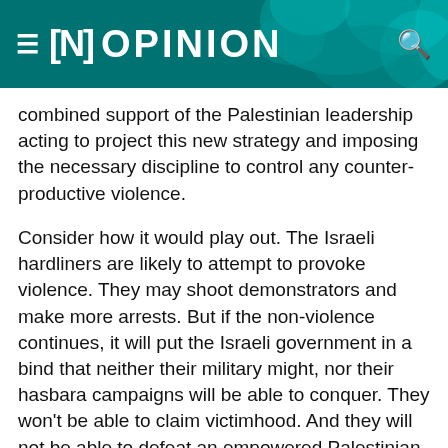≡ [N] OPINION
combined support of the Palestinian leadership acting to project this new strategy and imposing the necessary discipline to control any counter-productive violence.
Consider how it would play out. The Israeli hardliners are likely to attempt to provoke violence. They may shoot demonstrators and make more arrests. But if the non-violence continues, it will put the Israeli government in a bind that neither their military might, nor their hasbara campaigns will be able to conquer. They won't be able to claim victimhood. And they will not be able to defeat an empowered Palestinian constituency. Such a campaign will